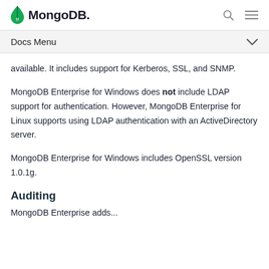MongoDB — Docs Menu
available. It includes support for Kerberos, SSL, and SNMP.
MongoDB Enterprise for Windows does not include LDAP support for authentication. However, MongoDB Enterprise for Linux supports using LDAP authentication with an ActiveDirectory server.
MongoDB Enterprise for Windows includes OpenSSL version 1.0.1g.
Auditing
MongoDB Enterprise adds...